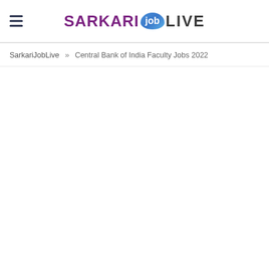SARKARI job LIVE
SarkariJobLive » Central Bank of India Faculty Jobs 2022